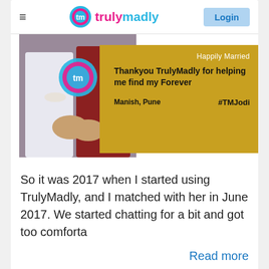trulymadly — Login
[Figure (photo): Couple holding hands with flower garlands, and a gold testimonial card overlay reading 'Happily Married — Thankyou TrulyMadly for helping me find my Forever — Manish, Pune #TMJodi']
So it was 2017 when I started using TrulyMadly, and I matched with her in June 2017. We started chatting for a bit and got too comforta
Read more